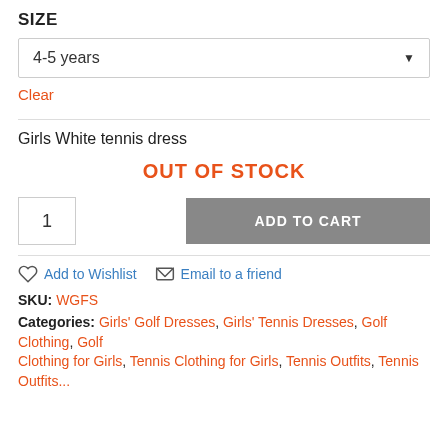SIZE
4-5 years
Clear
Girls White tennis dress
OUT OF STOCK
1
ADD TO CART
Add to Wishlist
Email to a friend
SKU: WGFS
Categories: Girls' Golf Dresses, Girls' Tennis Dresses, Golf Clothing, Golf Clothing for Girls, Tennis Clothing for Girls, Tennis Outfits, Tennis Outfits...